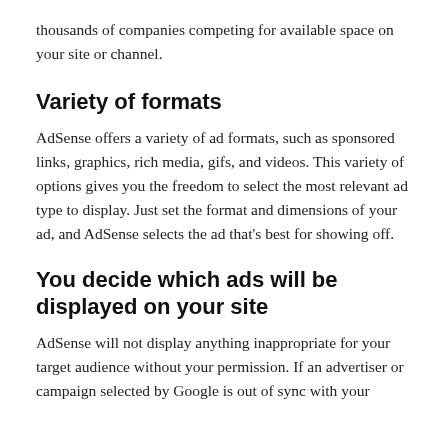thousands of companies competing for available space on your site or channel.
Variety of formats
AdSense offers a variety of ad formats, such as sponsored links, graphics, rich media, gifs, and videos. This variety of options gives you the freedom to select the most relevant ad type to display. Just set the format and dimensions of your ad, and AdSense selects the ad that's best for showing off.
You decide which ads will be displayed on your site
AdSense will not display anything inappropriate for your target audience without your permission. If an advertiser or campaign selected by Google is out of sync with your